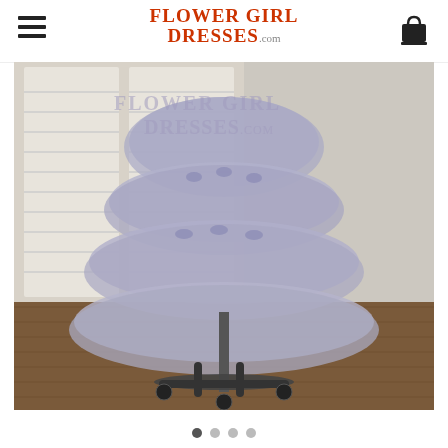FlowerGirlDresses.com
[Figure (photo): A lavender/grey tulle flower girl dress displayed on a dress stand/mannequin on wheels, photographed in a light-coloured room with wooden floor and white shuttered window backdrop. The dress has multiple tiered tulle layers with ribbon bows. A watermark reads FlowerGirlDresses.com.]